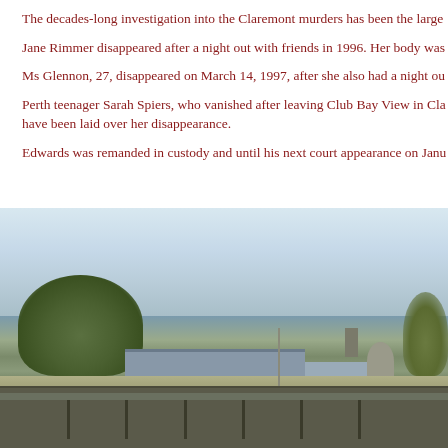The decades-long investigation into the Claremont murders has been the large…
Jane Rimmer disappeared after a night out with friends in 1996. Her body was…
Ms Glennon, 27, disappeared on March 14, 1997, after she also had a night ou…
Perth teenager Sarah Spiers, who vanished after leaving Club Bay View in Cla… have been laid over her disappearance.
Edwards was remanded in custody and until his next court appearance on Janu…
[Figure (photo): Exterior photo of a low-rise building with a dark roof in the foreground, larger buildings visible behind, eucalyptus trees to the left, blue sky above. Appears to be an Australian suburban or light industrial setting.]